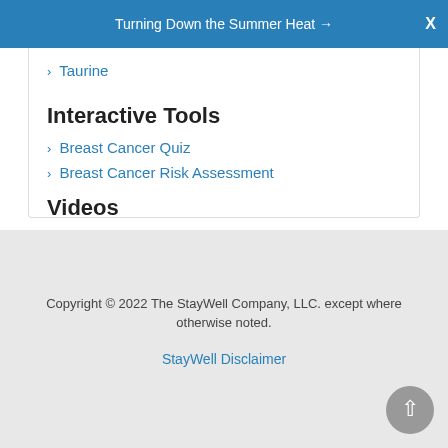Turning Down the Summer Heat →  X
› Taurine
Interactive Tools
› Breast Cancer Quiz
› Breast Cancer Risk Assessment
Videos
› Breast Biopsy
Copyright © 2022 The StayWell Company, LLC. except where otherwise noted.
StayWell Disclaimer